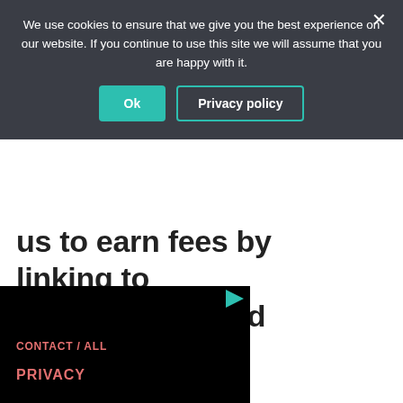us to earn fees by linking to Amazon.com and affiliated sites.
[Figure (screenshot): Black video/advertisement block with a small teal play button icon in the top-right corner]
CONTACT / ALL
PRIVACY
[Figure (screenshot): Cookie consent banner overlay with dark background (#3a3d45). Text reads: 'We use cookies to ensure that we give you the best experience on our website. If you continue to use this site we will assume that you are happy with it.' Two buttons: 'Ok' (teal filled) and 'Privacy policy' (teal border). Close X in top right.]